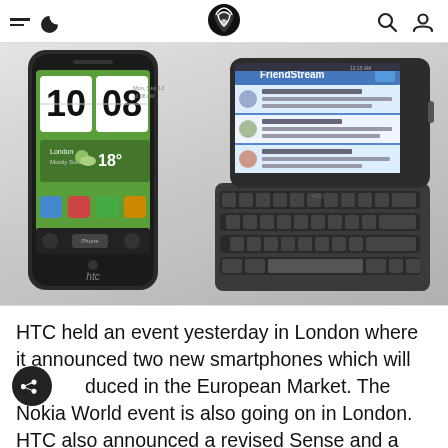Navigation bar with hamburger menu, moon icon, logo, search icon, user icon
[Figure (photo): Two HTC smartphones side by side on a light grey gradient background. Left phone shows an HTC Desire with HTC Sense home screen displaying clock showing 10:08 and weather widget for London showing 18 degrees. Right phone is an HTC Desire Z with slide-out QWERTY keyboard open, showing FriendStream social feed on screen.]
HTC held an event yesterday in London where it announced two new smartphones which will be introduced in the European Market. The Nokia World event is also going on in London. HTC also announced a revised Sense and a Sense web portal, HTCSense.com.